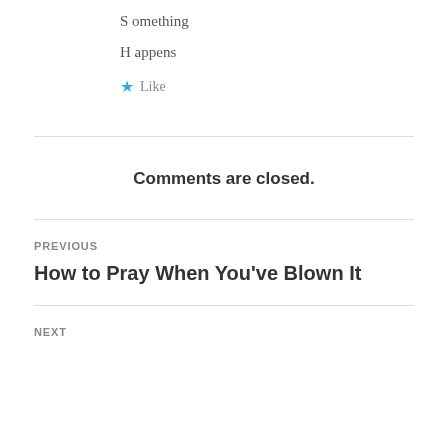S omething
H appens
★ Like
Comments are closed.
PREVIOUS
How to Pray When You've Blown It
NEXT